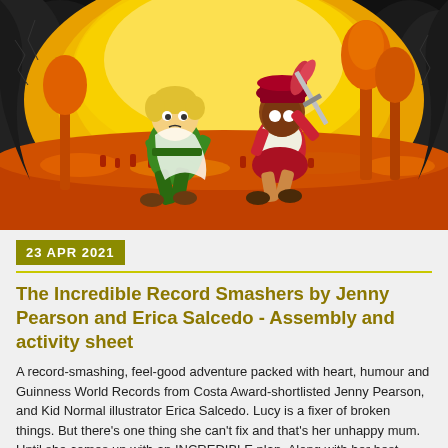[Figure (illustration): Book cover illustration showing two cartoon children – a boy in green outfit and a girl in pirate-style costume with sword – running against a dramatic orange/yellow fiery background with large dark creature silhouette]
23 APR 2021
The Incredible Record Smashers by Jenny Pearson and Erica Salcedo - Assembly and activity sheet
A record-smashing, feel-good adventure packed with heart, humour and Guinness World Records from Costa Award-shortlisted Jenny Pearson, and Kid Normal illustrator Erica Salcedo. Lucy is a fixer of broken things. But there's one thing she can't fix and that's her unhappy mum. Until she comes up with an INCREDIBLE plan. Along with her best friend, Sandesh, Lucy is going to SMASH a world record. Because she's convinced that starry Paul Castellini – Record Breaker TV host – is the key to cheering her mum up.